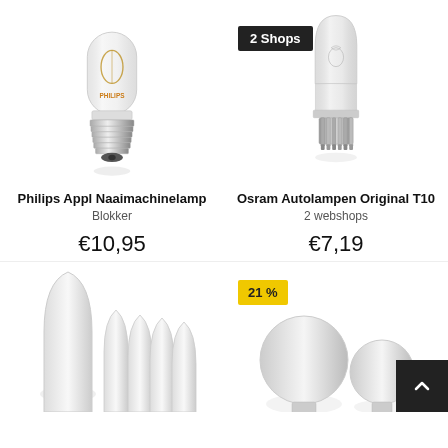[Figure (photo): Philips small tubular appliance lamp with E14 screw base, clear glass]
[Figure (photo): Osram T10 auto lamp, wedge base, clear glass, with '2 Shops' badge]
Philips Appl Naaimachinelamp
Blokker
€10,95
Osram Autolampen Original T10
2 webshops
€7,19
[Figure (photo): Multiple white candle-shaped LED bulbs]
[Figure (photo): Multiple white round LED bulbs with '21%' badge]